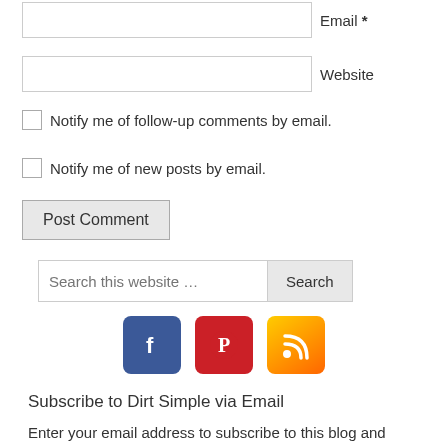Email *
Website
Notify me of follow-up comments by email.
Notify me of new posts by email.
Post Comment
Search this website …
[Figure (infographic): Social media icons: Facebook (blue), Pinterest (red), RSS (orange)]
Subscribe to Dirt Simple via Email
Enter your email address to subscribe to this blog and receive